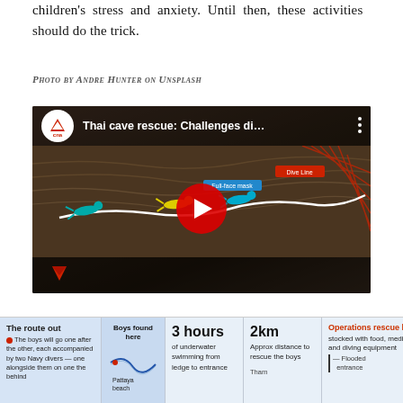children's stress and anxiety. Until then, these activities should do the trick.
Photo by Andre Hunter on Unsplash
[Figure (screenshot): YouTube video thumbnail for 'Thai cave rescue: Challenges di...' from CNA channel, showing a 3D cutaway diagram of cave rescue with divers and a red play button overlay.]
[Figure (infographic): Infographic strip titled 'The route out' showing: Boys found here / Pattaya beach / 3 hours of underwater swimming from ledge to entrance / 2km Approx distance to rescue the boys / Operations rescue base stocked with food, medical supplies and diving equipment / Flooded entrance / Tham]